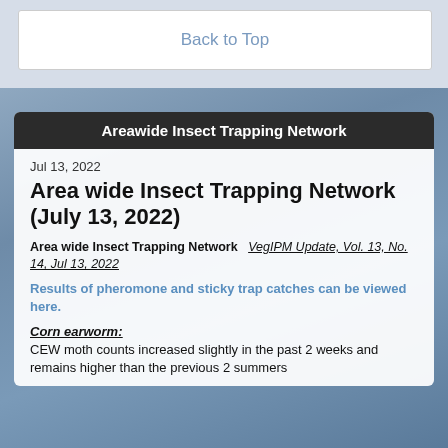Back to Top
Areawide Insect Trapping Network
Jul 13, 2022
Area wide Insect Trapping Network (July 13, 2022)
Area wide Insect Trapping Network   VegIPM Update, Vol. 13, No. 14, Jul 13, 2022
Results of pheromone and sticky trap catches can be viewed here.
Corn earworm:
CEW moth counts increased slightly in the past 2 weeks and remains higher than the previous 2 summers